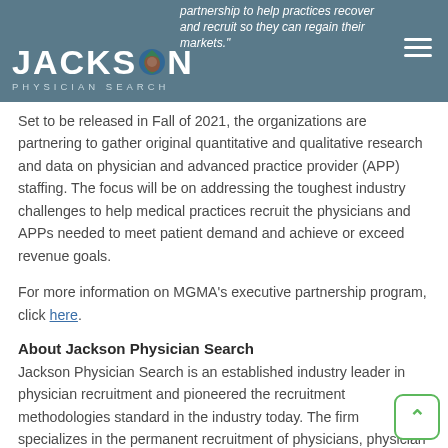Jackson Physician Search
Set to be released in Fall of 2021, the organizations are partnering to gather original quantitative and qualitative research and data on physician and advanced practice provider (APP) staffing. The focus will be on addressing the toughest industry challenges to help medical practices recruit the physicians and APPs needed to meet patient demand and achieve or exceed revenue goals.
For more information on MGMA’s executive partnership program, click here.
About Jackson Physician Search
Jackson Physician Search is an established industry leader in physician recruitment and pioneered the recruitment methodologies standard in the industry today. The firm specializes in the permanent recruitment of physicians, physician leaders, and executive practice providers for...